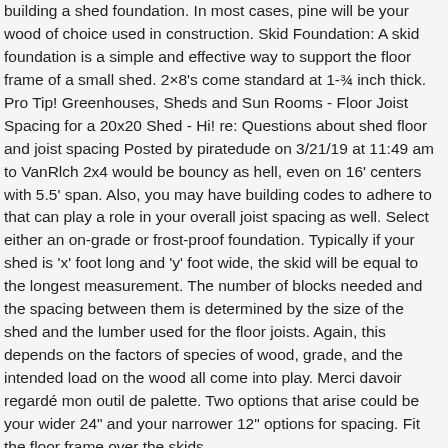building a shed foundation. In most cases, pine will be your wood of choice used in construction. Skid Foundation: A skid foundation is a simple and effective way to support the floor frame of a small shed. 2×8's come standard at 1-¾ inch thick. Pro Tip! Greenhouses, Sheds and Sun Rooms - Floor Joist Spacing for a 20x20 Shed - Hi! re: Questions about shed floor and joist spacing Posted by piratedude on 3/21/19 at 11:49 am to VanRlch 2x4 would be bouncy as hell, even on 16' centers with 5.5' span. Also, you may have building codes to adhere to that can play a role in your overall joist spacing as well. Select either an on-grade or frost-proof foundation. Typically if your shed is 'x' foot long and 'y' foot wide, the skid will be equal to the longest measurement. The number of blocks needed and the spacing between them is determined by the size of the shed and the lumber used for the floor joists. Again, this depends on the factors of species of wood, grade, and the intended load on the wood all come into play. Merci davoir regardé mon outil de palette. Two options that arise could be your wider 24" and your narrower 12" options for spacing. Fit the floor frame over the skids